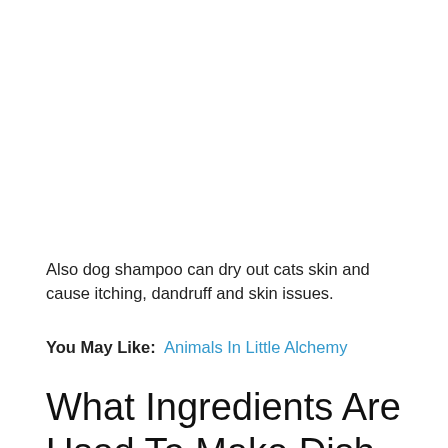Also dog shampoo can dry out cats skin and cause itching, dandruff and skin issues.
You May Like:  Animals In Little Alchemy
What Ingredients Are Used To Make Dish Soap